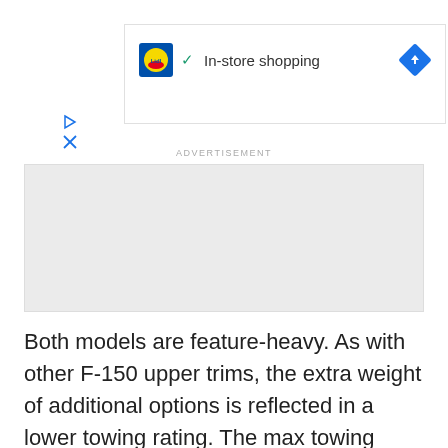[Figure (screenshot): Lidl store listing snippet showing logo, checkmark, and 'In-store shopping' text with a blue directions diamond icon, plus play and close controls below]
ADVERTISEMENT
[Figure (other): Grey advertisement placeholder rectangle]
Both models are feature-heavy. As with other F-150 upper trims, the extra weight of additional options is reflected in a lower towing rating. The max towing capacity for the